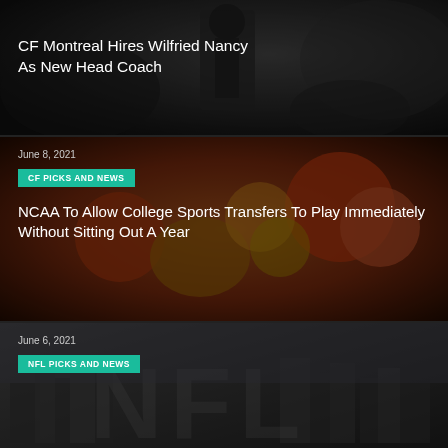[Figure (photo): Dark sports image with referee/player, background for first card]
CF Montreal Hires Wilfried Nancy As New Head Coach
[Figure (photo): College football players pileup, orange and yellow LSU/Clemson uniforms]
June 8, 2021
CF PICKS AND NEWS
NCAA To Allow College Sports Transfers To Play Immediately Without Sitting Out A Year
[Figure (photo): Grayscale cityscape with large NFL text watermark]
June 6, 2021
NFL PICKS AND NEWS